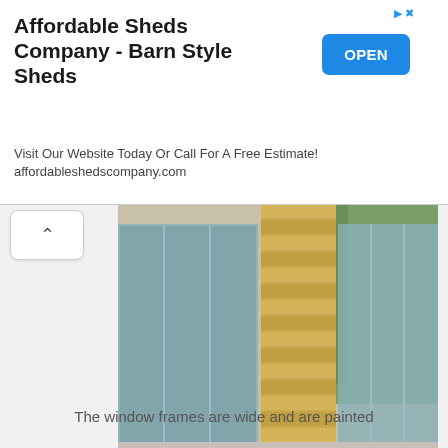Affordable Sheds Company - Barn Style Sheds
Visit Our Website Today Or Call For A Free Estimate! affordableshedscompany.com
[Figure (photo): Outdoor patio furniture scene with gray sofas, colorful teal, yellow and green pillows, a wooden coffee table with a fruit bowl and pink flowers, on a teal patterned rug, with a modern building facade featuring yellow pine horizontal slat doors and large glass windows in the background.]
During the day the yellow pine makes the facade shine, the main accesses have doors of the same material in the form of horizontal slats
The window frames are wide and are painted